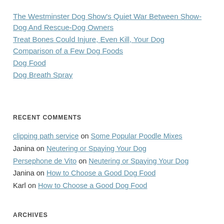The Westminster Dog Show's Quiet War Between Show-Dog And Rescue-Dog Owners
Treat Bones Could Injure, Even Kill, Your Dog
Comparison of a Few Dog Foods
Dog Food
Dog Breath Spray
RECENT COMMENTS
clipping path service on Some Popular Poodle Mixes
Janina on Neutering or Spaying Your Dog
Persephone de Vito on Neutering or Spaying Your Dog
Janina on How to Choose a Good Dog Food
Karl on How to Choose a Good Dog Food
ARCHIVES